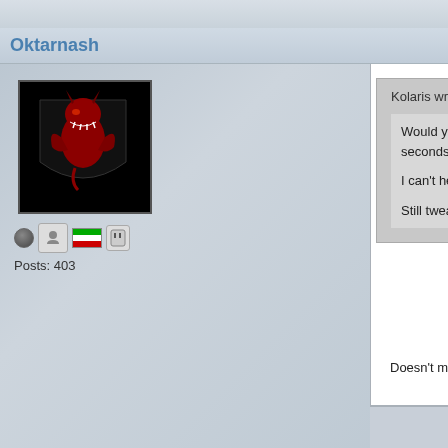Oktarnash
[Figure (illustration): Forum user avatar: red dragon on black heraldic shield background]
Posts: 403
Kolaris wrote:
Would you believe that for part of the squad movement seconds?
I can't help but feel this is compensation for him jum
Still tweaking, going for a V3.
Doesn't make much sense seeing as how, you don't get a
[Figure (illustration): Red dragon sprite/pixel art - forum signature image]